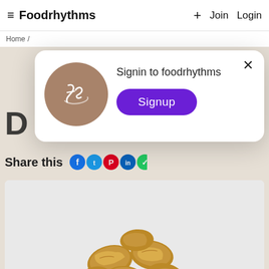Foodrhythms   +   Join   Login
Home /
[Figure (screenshot): Foodrhythms website with a login modal dialog overlay. The modal shows the Foodrhythms logo (brown circle with stylized 'fr' script), text 'Signin to foodrhythms', and a purple 'Signup' button. Background shows partial page content with 'Share this' text and social icons, and a photo of fried dumplings on a white plate.]
Signin to foodrhythms
Signup
Share this